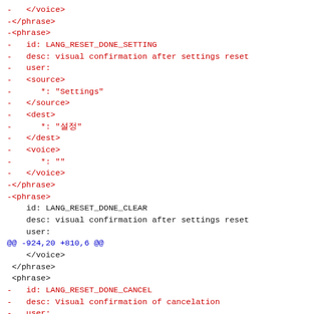diff code block showing XML phrase changes with red removed lines, blue hunk header, and black context lines